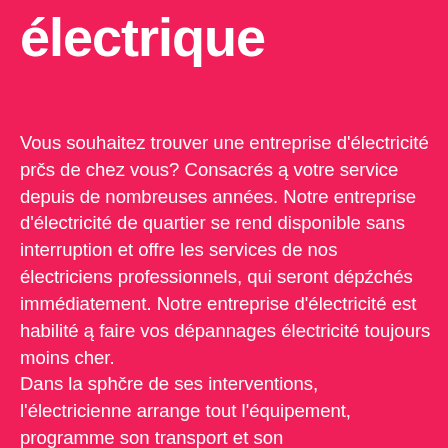électrique
Vous souhaitez trouver une entreprise d'électricité prčs de chez vous? Consacrés ą votre service depuis de nombreuses années. Notre entreprise d'électricité de quartier se rend disponible sans interruption et offre les services de nos électriciens professionnels, qui seront dépźchés immédiatement. Notre entreprise d'électricité est habilité ą faire vos dépannages électricité toujours moins cher. Dans la sphčre de ses interventions, l'électricienne arrange tout l'équipement, programme son transport et son approvisionnement dans l'entassement du domicile en reconstruction, préalablement il énonce les plans d'accomplissement réalisés par les entrepreneurs. Contactez sans plus tarder votre spécialiste de